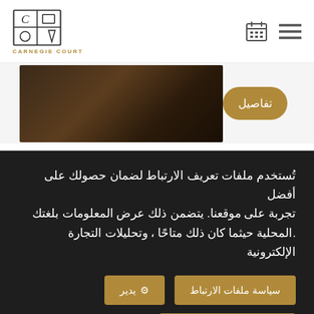[Figure (logo): Carnegie Court logo with geometric shapes (C, square, diamond) and text CARNEGIE COURT in gold]
[Figure (photo): Dark room/door image, hotel interior]
تفاصيل
تُستخدم ملفات تعريف الارتباط لضمان حصولك على أفضل تجربة على موقعنا. يتضمن ذلك عرض المعلومات بلغتك المحلية حيثما كان ذلك متاحًا، وتحليلات التجارة الإلكترونية.
سياسة ملفات الارتباط
يدير ⚙
السماح للكوكيز